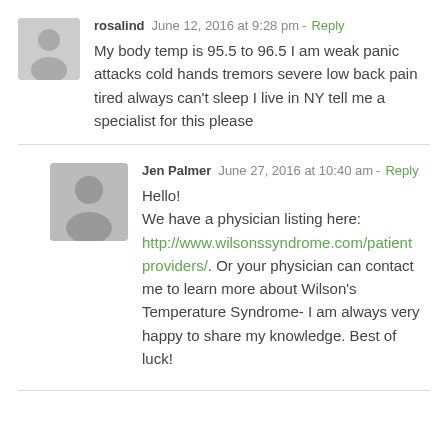rosalind  June 12, 2016 at 9:28 pm - Reply
My body temp is 95.5 to 96.5 I am weak panic attacks cold hands tremors severe low back pain tired always can't sleep I live in NY tell me a specialist for this please
Jen Palmer  June 27, 2016 at 10:40 am - Reply
Hello!
We have a physician listing here: http://www.wilsonssyndrome.com/patientproviders/. Or your physician can contact me to learn more about Wilson's Temperature Syndrome- I am always very happy to share my knowledge. Best of luck!